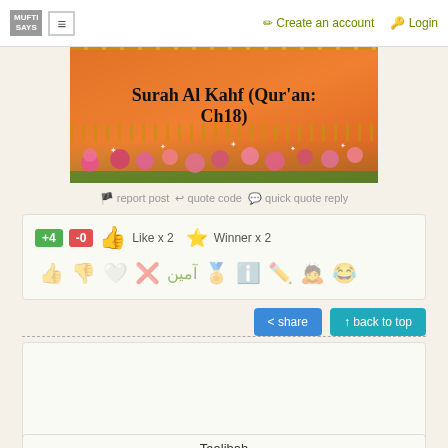MUFTI SAYS  ≡  Create an account  Login
[Figure (illustration): Decorative image with orange background showing text 'Surah Al Kahf (Qur'an: Ch18)' with floral border of pink flowers and golden fence]
report post  quote code  quick quote reply
[Figure (infographic): Reaction buttons row: +4 green badge, -0 red badge, thumbs up icon, Like x 2, star icon, Winner x 2, and a row of reaction emoji icons]
share  back to top
"Whoever is for ALLAAH, then ALLAAH is for him"
( سُبْحَانَ اللهِ وَالْحَمْدُلِلهِ وَلا إِلَاللُّهُ وَاللهُ أَكْبَرُ )
Taalibah